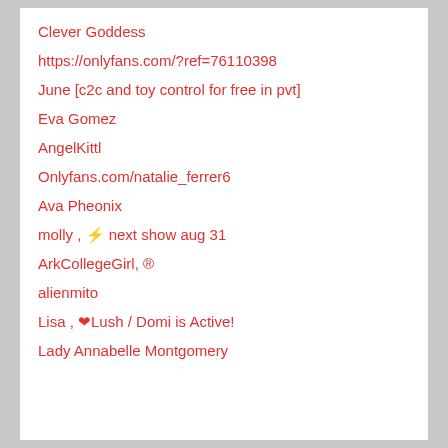Clever Goddess
https://onlyfans.com/?ref=76110398
June [c2c and toy control for free in pvt]
Eva Gomez
AngelKittl
Onlyfans.com/natalie_ferrer6
Ava Pheonix
molly , ⚡ next show aug 31
ArkCollegeGirl, ®
alienmito
Lisa , ❤Lush / Domi is Active!
Lady Annabelle Montgomery